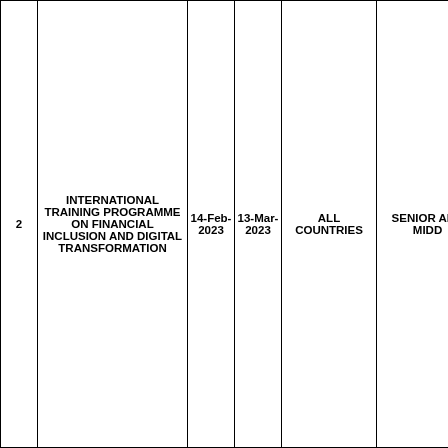|  | Programme Name | Start Date | End Date | Countries | Target Participants |
| --- | --- | --- | --- | --- | --- |
| 2 | INTERNATIONAL TRAINING PROGRAMME ON FINANCIAL INCLUSION AND DIGITAL TRANSFORMATION | 14-Feb-2023 | 13-Mar-2023 | ALL COUNTRIES | SENIOR AND MIDD |